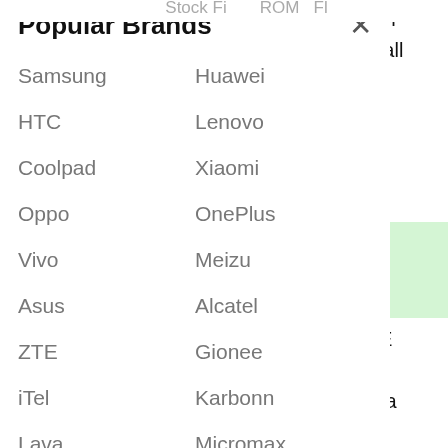...t...ll Stock Fir... ROM Fla...sh File for
Popular Brands
Samsung
Huawei
HTC
Lenovo
Coolpad
Xiaomi
Oppo
OnePlus
Vivo
Meizu
Asus
Alcatel
ZTE
Gionee
iTel
Karbonn
Lava
Micromax
Symphony
Walton
sh File for
w to install
8, 7
d official
u are on
all ZTE
models,
ge.
ck
:
your ZTE
eans you
ve have a
upgrade
, install
M file.